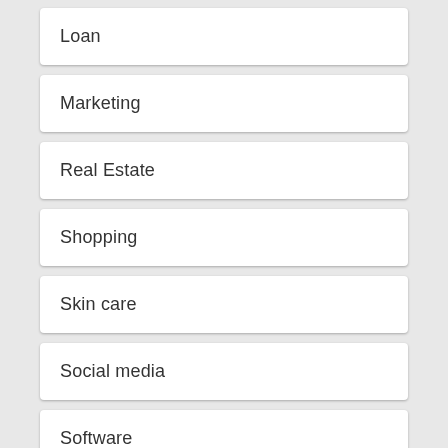Loan
Marketing
Real Estate
Shopping
Skin care
Social media
Software
Sports